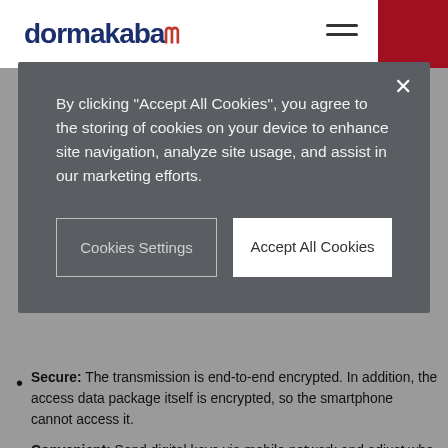dormakaba
By clicking "Accept All Cookies", you agree to the storing of cookies on your device to enhance site navigation, analyze site usage, and assist in our marketing efforts.
Cookies Settings
Accept All Cookies
Secure: The transmission is end-to-end encrypted. In addition, the access data package itself is encrypted, so the smartphone cannot access it.
Convenient: Send digital keys via mobile network and adjust who has access, for how long and where.
User-friendly: Thanks to our special TapGo